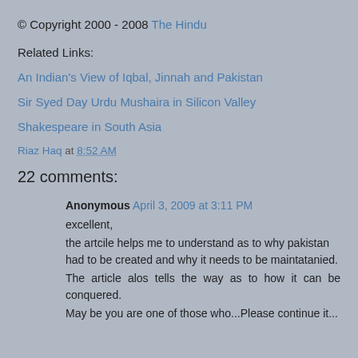© Copyright 2000 - 2008 The Hindu
Related Links:
An Indian's View of Iqbal, Jinnah and Pakistan
Sir Syed Day Urdu Mushaira in Silicon Valley
Shakespeare in South Asia
Riaz Haq at 8:52 AM
22 comments:
Anonymous April 3, 2009 at 3:11 PM
excellent,
the artcile helps me to understand as to why pakistan had to be created and why it needs to be maintatanied.
The article alos tells the way as to how it can be conquered.
May be you are one of those who...Please continue it...